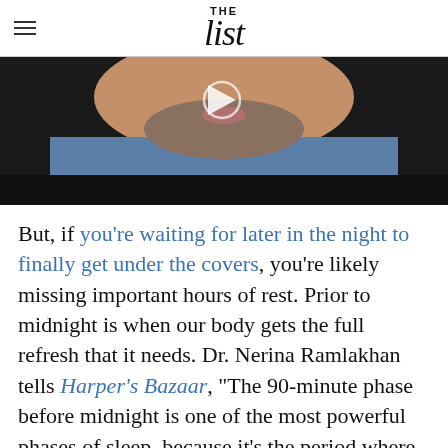THE List
[Figure (photo): Close-up photo of a bearded man in a blue shirt, with a video play button overlay. Lower portion of the frame shows a black video player bar.]
But, if you're waiting for later in the night to finally get under the covers, you're likely missing important hours of rest. Prior to midnight is when our body gets the full refresh that it needs. Dr. Nerina Ramlakhan tells Harper's Bazaar, "The 90-minute phase before midnight is one of the most powerful phases of sleep, because it's the period where the body is replenished. It's rejuvenated on every level – physically, mentally,